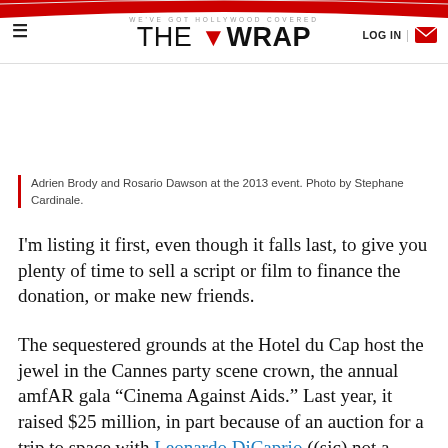WE'VE GOT HOLLYWOOD COVERED — THE WRAP — LOG IN
Adrien Brody and Rosario Dawson at the 2013 event. Photo by Stephane Cardinale.
I'm listing it first, even though it falls last, to give you plenty of time to sell a script or film to finance the donation, or make new friends.
The sequestered grounds at the Hotel du Cap host the jewel in the Cannes party scene crown, the annual amfAR gala “Cinema Against Aids.” Last year, it raised $25 million, in part because of an auction for a trip to space with Leonardo DiCaprio ((sic) not a typo).